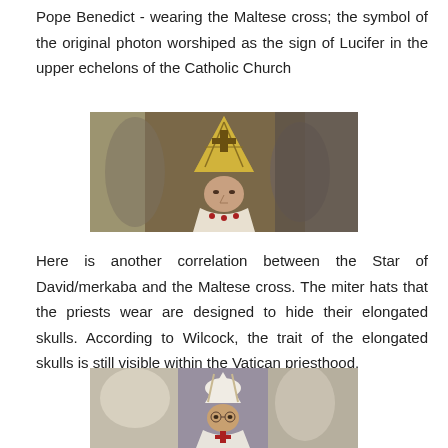Pope Benedict - wearing the Maltese cross; the symbol of the original photon worshiped as the sign of Lucifer in the upper echelons of the Catholic Church
[Figure (photo): Photo of Pope Benedict wearing an ornate gold miter hat with a Maltese cross symbol, dressed in white vestments with red decorations.]
Here is another correlation between the Star of David/merkaba and the Maltese cross. The miter hats that the priests wear are designed to hide their elongated skulls. According to Wilcock, the trait of the elongated skulls is still visible within the Vatican priesthood.
[Figure (photo): Photo of a pope (possibly Pope Francis) wearing a white zucchetto and miter hat, with other clergy in white vestments visible behind.]